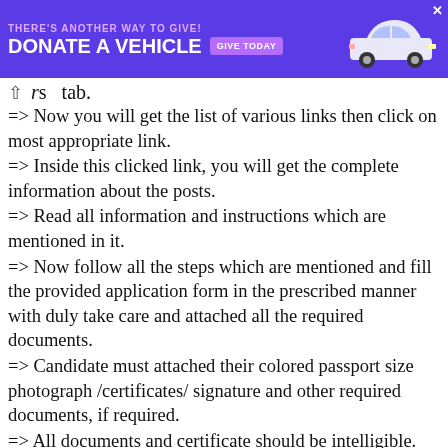[Figure (screenshot): Purple advertisement banner: 'THERE'S ANOTHER WAY TO GIVE! DONATE A VEHICLE GIVE TODAY' with car image]
rs tab.
=> Now you will get the list of various links then click on most appropriate link.
=> Inside this clicked link, you will get the complete information about the posts.
=> Read all information and instructions which are mentioned in it.
=> Now follow all the steps which are mentioned and fill the provided application form in the prescribed manner with duly take care and attached all the required documents.
=> Candidate must attached their colored passport size photograph /certificates/ signature and other required documents, if required.
=> All documents and certificate should be intelligible.
=> Once the application form filled successfully, applicants submit the form. 15th September 2021.
Job Important Dates -: 15th September 2021